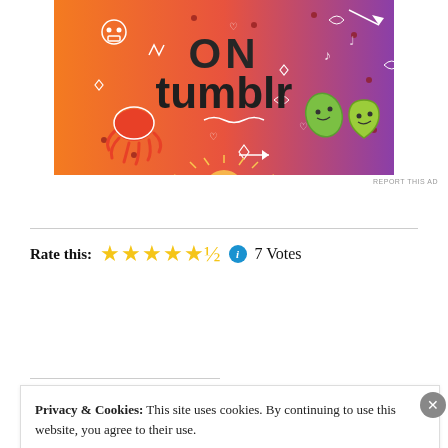[Figure (illustration): Tumblr advertisement banner with colorful orange-to-purple gradient background featuring white doodle icons (skull, music notes, hearts, arrows, leaves), large bold text 'ON tumblr', cartoon octopus and leaf characters.]
REPORT THIS AD
Rate this: ★★★★★½ ℹ 7 Votes
Privacy & Cookies: This site uses cookies. By continuing to use this website, you agree to their use.
To find out more, including how to control cookies, see here: Cookie Policy
Close and accept